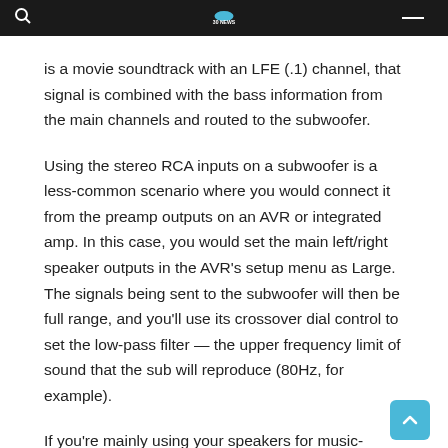30 NEWS
is a movie soundtrack with an LFE (.1) channel, that signal is combined with the bass information from the main channels and routed to the subwoofer.
Using the stereo RCA inputs on a subwoofer is a less-common scenario where you would connect it from the preamp outputs on an AVR or integrated amp. In this case, you would set the main left/right speaker outputs in the AVR's setup menu as Large. The signals being sent to the subwoofer will then be full range, and you'll use its crossover dial control to set the low-pass filter — the upper frequency limit of sound that the sub will reproduce (80Hz, for example).
If you're mainly using your speakers for music-listening,